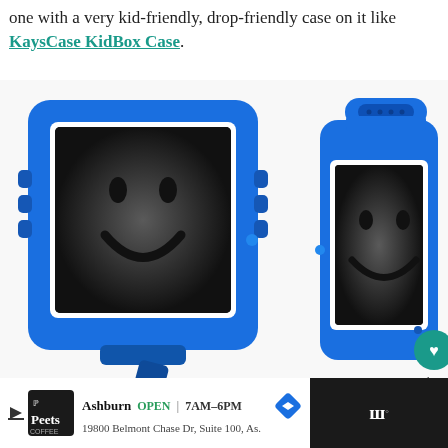one with a very kid-friendly, drop-friendly case on it like KaysCase KidBox Case.
[Figure (photo): Two blue KaysCase KidBox Cases holding tablets/iPads displaying a smiley face. Left case is propped up at an angle with a kickstand; right case is held upright with a handle on top. A teal heart/favorite button and share icon are visible on the right side.]
Peets Coffee | Ashburn OPEN | 7AM–6PM | 19800 Belmont Chase Dr, Suite 100, As.